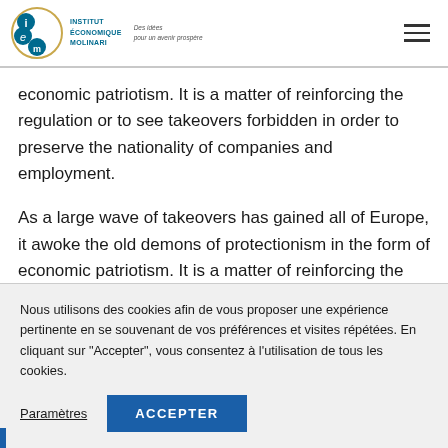Institut Économique Molinari — Des idées pour un avenir prospère
economic patriotism. It is a matter of reinforcing the regulation or to see takeovers forbidden in order to preserve the nationality of companies and employment.
As a large wave of takeovers has gained all of Europe, it awoke the old demons of protectionism in the form of economic patriotism. It is a matter of reinforcing the regulation or to see takeovers forbidden in order to preserve the
Nous utilisons des cookies afin de vous proposer une expérience pertinente en se souvenant de vos préférences et visites répétées. En cliquant sur "Accepter", vous consentez à l'utilisation de tous les cookies.
Paramètres
ACCEPTER